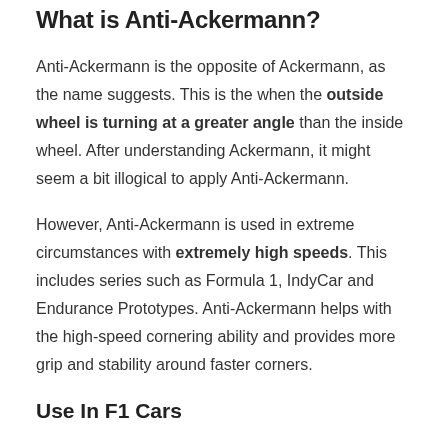What is Anti-Ackermann?
Anti-Ackermann is the opposite of Ackermann, as the name suggests. This is the when the outside wheel is turning at a greater angle than the inside wheel. After understanding Ackermann, it might seem a bit illogical to apply Anti-Ackermann.
However, Anti-Ackermann is used in extreme circumstances with extremely high speeds. This includes series such as Formula 1, IndyCar and Endurance Prototypes. Anti-Ackermann helps with the high-speed cornering ability and provides more grip and stability around faster corners.
Use In F1 Cars